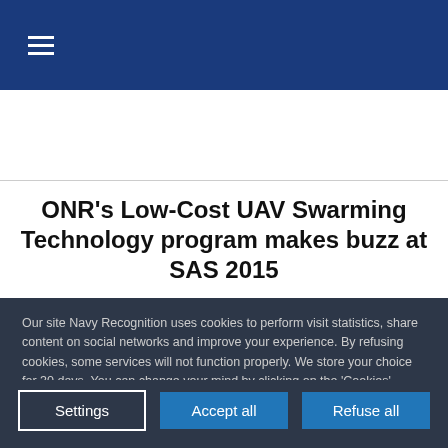≡
ONR's Low-Cost UAV Swarming Technology program makes buzz at SAS 2015
Our site Navy Recognition uses cookies to perform visit statistics, share content on social networks and improve your experience. By refusing cookies, some services will not function properly. We store your choice for 30 days. You can change your mind by clicking on the 'Cookies' button at the bottom left of every page of our site. Learn more
Settings | Accept all | Refuse all